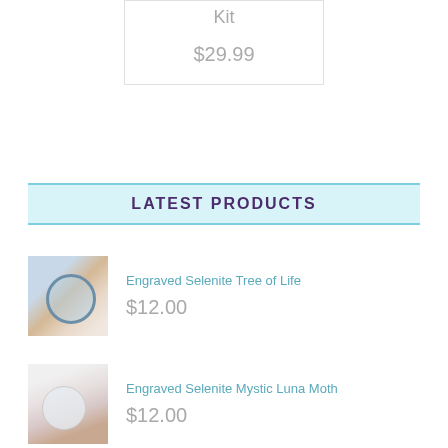Kit
$29.99
LATEST PRODUCTS
[Figure (photo): Product image of Engraved Selenite Tree of Life - circular selenite disc with tree engraving on light background with golden decorative elements]
Engraved Selenite Tree of Life
$12.00
[Figure (photo): Product image of Engraved Selenite Mystic Luna Moth - crystal sphere and white selenite pieces on light background with red berries]
Engraved Selenite Mystic Luna Moth
$12.00